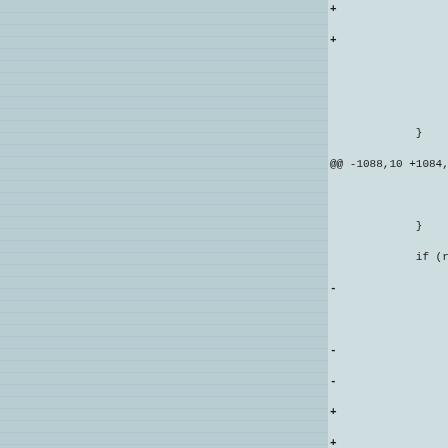[Figure (screenshot): Diff output of kernel journal code showing added and removed lines with context. Left side is a decorative striped panel. Right side shows code diff with +/- markers for changes to journal buffer functions.]